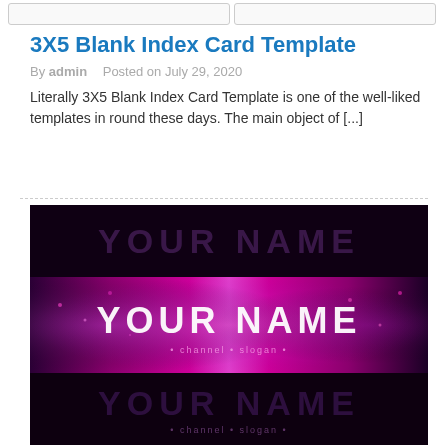[navigation bar with two input/search boxes]
3X5 Blank Index Card Template
By admin   Posted on July 29, 2020
Literally 3X5 Blank Index Card Template is one of the well-liked templates in round these days. The main object of [...]
[Figure (illustration): A dark purple/black themed YouTube channel art template showing 'YOUR NAME' text displayed three times: once faded at top in dark, once in the bright pink/purple banner in the middle, and once faded at the bottom in dark. The banner has vivid magenta and purple smoke/abstract effects.]